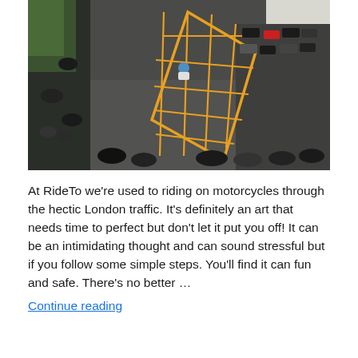[Figure (photo): Aerial view of motorcycles and scooters on a road with yellow box junction markings painted on the asphalt, shot from above. Several motorbikes are parked or waiting around the painted yellow diamond grid pattern.]
At RideTo we're used to riding on motorcycles through the hectic London traffic. It's definitely an art that needs time to perfect but don't let it put you off! It can be an intimidating thought and can sound stressful but if you follow some simple steps. You'll find it can fun and safe. There's no better …
Continue reading